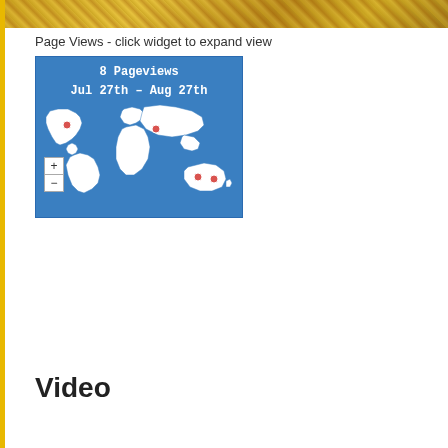[Figure (photo): Decorative banner image with golden/brown tones at top of page]
Page Views - click widget to expand view
[Figure (map): World map widget showing 8 Pageviews from Jul 27th - Aug 27th with red location markers on North America, Middle East/South Asia, and Australia. Blue background with white continent outlines. Zoom +/- controls on left.]
Video